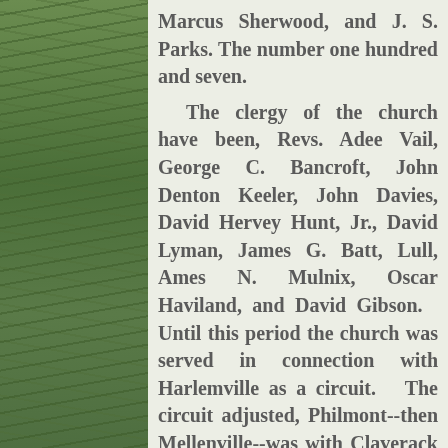[Figure (photo): Photograph of grass/wildflowers with clover or small white flowers, green foliage background, occupying the left portion of the page]
Marcus Sherwood, and J. S. Parks. The number one hundred and seven. The clergy of the church have been, Revs. Adee Vail, George C. Bancroft, John Denton Keeler, John Davies, David Hervey Hunt, Jr., David Lyman, James G. Batt, Lull, Ames N. Mulnix, Oscar Haviland, and David Gibson. Until this period the church was served in connection with Harlemville as a circuit. The circuit adjusted, Philmont--then Mellenville--was with Claverack in forming a new circuit. Since that time the pastors have been Revs. Quincy Thomas Lamont, G. W. Knapp, G. D. Tow, and the present (1878), R. H. Travis.